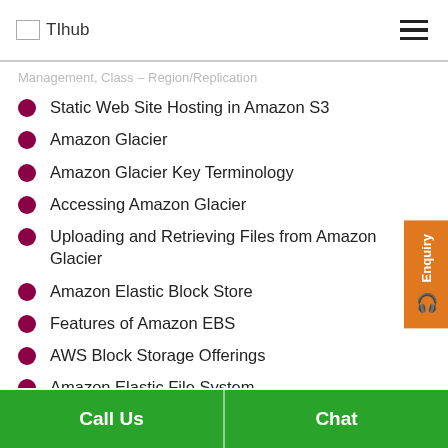TIhub
Management, Class – Region/Replication
Static Web Site Hosting in Amazon S3
Amazon Glacier
Amazon Glacier Key Terminology
Accessing Amazon Glacier
Uploading and Retrieving Files from Amazon Glacier
Amazon Elastic Block Store
Features of Amazon EBS
AWS Block Storage Offerings
Amazon Elastic File System
Call Us   Chat